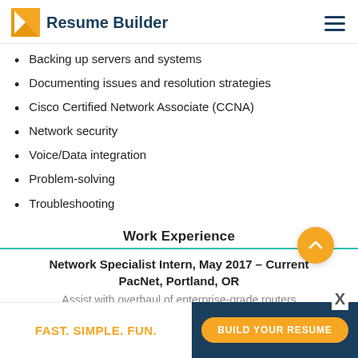Resume Builder
Backing up servers and systems
Documenting issues and resolution strategies
Cisco Certified Network Associate (CCNA)
Network security
Voice/Data integration
Problem-solving
Troubleshooting
Work Experience
Network Specialist Intern, May 2017 – Current
PacNet, Portland, OR
Assist with overhaul of enterprise-grade routers...